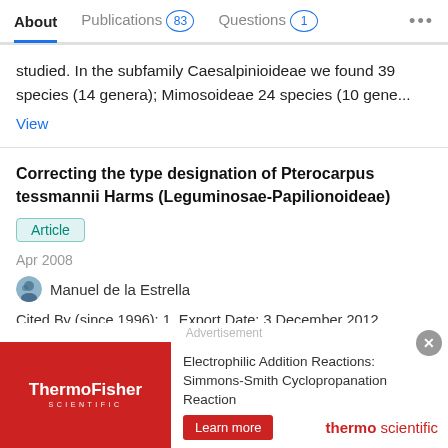About  Publications 83  Questions 1  ...
studied. In the subfamily Caesalpinioideae we found 39 species (14 genera); Mimosoideae 24 species (10 gene...
View
Correcting the type designation of Pterocarpus tessmannii Harms (Leguminosae-Papilionoideae)
Article
Apr 2008
Manuel de la Estrella
Cited By (since 1996): 1, Export Date: 3 December 2012, Source: Scopus
View
Advertisement
[Figure (other): ThermoFisher Scientific advertisement banner. Red left panel with ThermoFisher Scientific logo. Right panel with text: Electrophilic Addition Reactions: Simmons-Smith Cyclopropanation Reaction. Learn more button and thermo scientific logo.]